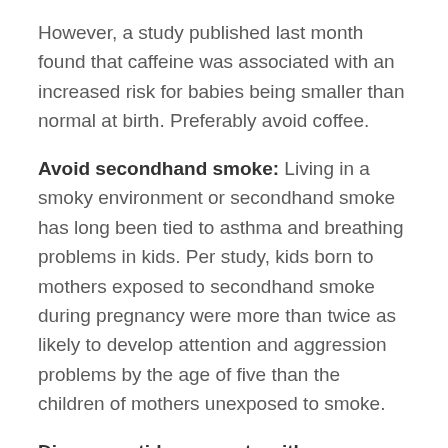However, a study published last month found that caffeine was associated with an increased risk for babies being smaller than normal at birth. Preferably avoid coffee.
Avoid secondhand smoke: Living in a smoky environment or secondhand smoke has long been tied to asthma and breathing problems in kids. Per study, kids born to mothers exposed to secondhand smoke during pregnancy were more than twice as likely to develop attention and aggression problems by the age of five than the children of mothers unexposed to smoke.
Discuss antidepressants with your doctor: Antidepressants have lasting impacts on the developing fetus, according to recent review of studies. A selective serotonin reuptake inhibitor (SSRI) while pregnant may be linked to a higher risk of miscarriages, birth defects, preterm delivery and behavioral problems, including